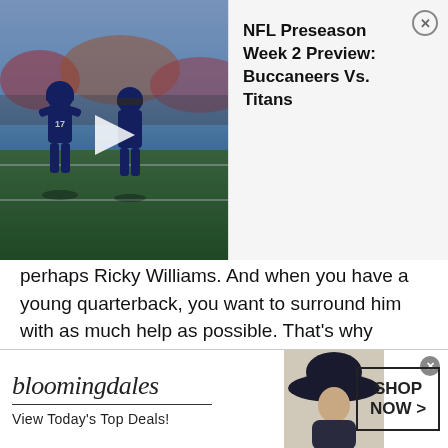[Figure (photo): NFL football game action shot showing players in dark blue uniforms on field, with a video play button overlay. A popup card appears to the right showing 'NFL Preseason Week 2 Preview: Buccaneers Vs. Titans' with a close (X) button.]
NFL Preseason Week 2 Preview: Buccaneers Vs. Titans
perhaps Ricky Williams. And when you have a young quarterback, you want to surround him with as much help as possible. That's why Miami drafted Alabama's star wide receiver Jaylen Waddle in the first round of the draft.
Waddle has burner speed and is always a threat to take a play to the house. However, he isn't just straight line fast. He's also very quick and can be quite elusive. Plays like screen passes or punt returns can be a threat to score.
[Figure (photo): Bloomingdale's advertisement banner. Shows Bloomingdale's logo, tagline 'View Today's Top Deals!', a woman wearing a wide-brim hat, and a 'SHOP NOW >' button. Close button (X) in top right.]